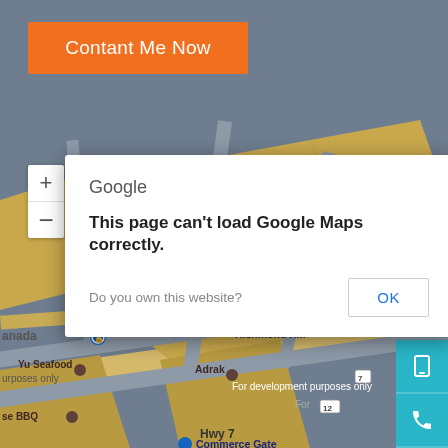[Figure (screenshot): Google Maps screenshot showing Richmond Hill area with streets, buildings in tan/gold, a red location pin marker, and map labels including Toronto North Hotel, Times Square Richmond Hill, Yu Seafood, Adrak, Commerce Gate, Hwy 7. Background map is partially obscured by a Google error dialog. Map has gray background with road network.]
Contant Me Now
[Figure (screenshot): Google Maps error dialog overlay: 'Google' header, bold text 'This page can't load Google Maps correctly.' with subtext 'Do you own this website?' and an OK button]
Google
This page can't load Google Maps correctly.
Do you own this website?
OK